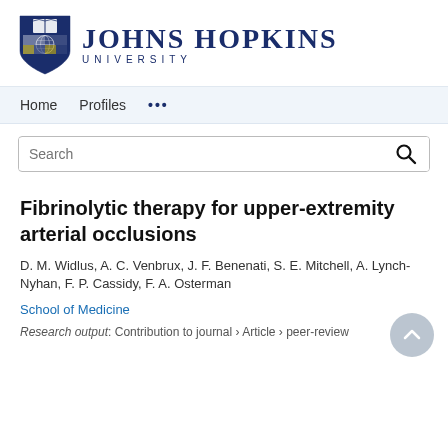[Figure (logo): Johns Hopkins University logo with shield and wordmark]
Home  Profiles  ...
Search
Fibrinolytic therapy for upper-extremity arterial occlusions
D. M. Widlus, A. C. Venbrux, J. F. Benenati, S. E. Mitchell, A. Lynch-Nyhan, F. P. Cassidy, F. A. Osterman
School of Medicine
Research output: Contribution to journal › Article › peer-review